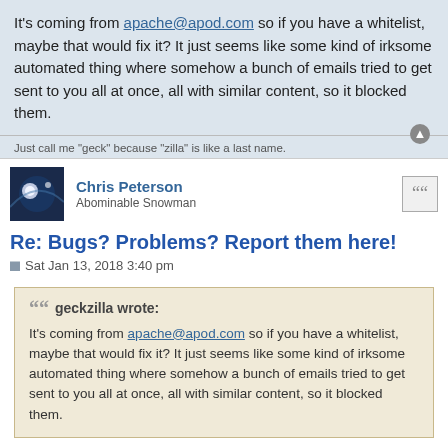It's coming from apache@apod.com so if you have a whitelist, maybe that would fix it? It just seems like some kind of irksome automated thing where somehow a bunch of emails tried to get sent to you all at once, all with similar content, so it blocked them.
Just call me "geck" because "zilla" is like a last name.
Chris Peterson
Abominable Snowman
Re: Bugs? Problems? Report them here!
Sat Jan 13, 2018 3:40 pm
geckzilla wrote:
It's coming from apache@apod.com so if you have a whitelist, maybe that would fix it? It just seems like some kind of irksome automated thing where somehow a bunch of emails tried to get sent to you all at once, all with similar content, so it blocked them.
Okay, that's useful. I'll check with them on Monday. The problem appears to be associated with the change of sender. It's always been concam@mtu.edu. So it's the new sender that's apparently being seen as a problem. I can't whitelist it myself, the failure is happening too early in the chain. I really hope to get this fixed in the next few days.